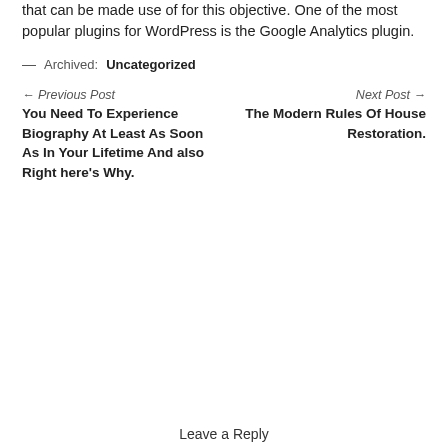that can be made use of for this objective. One of the most popular plugins for WordPress is the Google Analytics plugin.
— Archived: Uncategorized
← Previous Post
You Need To Experience Biography At Least As Soon As In Your Lifetime And also Right here's Why.
Next Post →
The Modern Rules Of House Restoration.
Leave a Reply